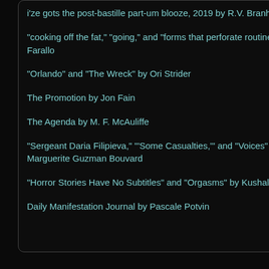i'ze gots the post-bastille part-um blooze, 2019 by R.V. Branham
"cooking off the fat," "going," and "forms that perforate routine" by Livio Farallo
"Orlando" and "The Wreck" by Ori Strider
The Promotion by Jon Fain
The Agenda by M. F. McAuliffe
"Sergeant Daria Filipieva," "'Some Casualties,'" and "Voices" by Marguerite Guzman Bouvard
"Horror Stories Have No Subtitles" and "Orgasms" by Kushal Poddar
Daily Manifestation Journal by Pascale Potvin